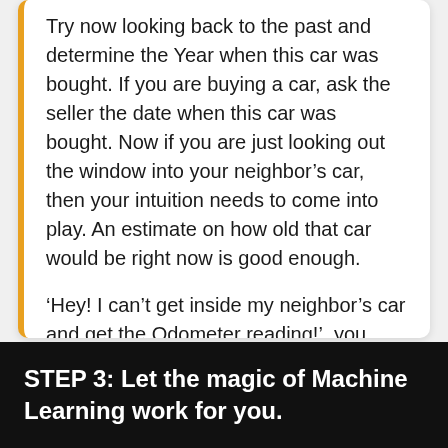Try now looking back to the past and determine the Year when this car was bought. If you are buying a car, ask the seller the date when this car was bought. Now if you are just looking out the window into your neighbor's car, then your intuition needs to come into play. An estimate on how old that car would be right now is good enough.
'Hey! I can't get inside my neighbor's car and get the Odometer reading!', you said.
That's okay, you can leave the Odometer reading blank and just estimate the year the car was bought, we can still take care of you.
STEP 3: Let the magic of Machine Learning work for you.